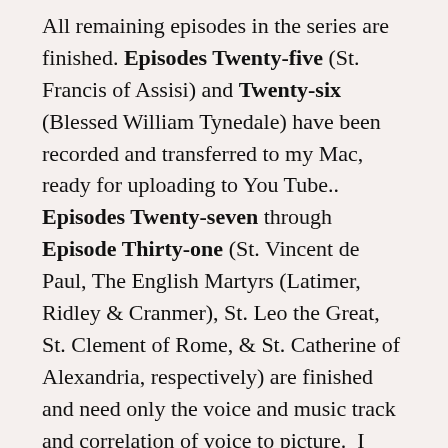All remaining episodes in the series are finished. Episodes Twenty-five (St. Francis of Assisi) and Twenty-six (Blessed William Tynedale) have been recorded and transferred to my Mac, ready for uploading to You Tube..  Episodes Twenty-seven through Episode Thirty-one (St. Vincent de Paul, The English Martyrs (Latimer, Ridley & Cranmer), St. Leo the Great, St. Clement of Rome, & St. Catherine of Alexandria, respectively) are finished and need only the voice and music track and correlation of voice to picture.  I expect to get two of those five recorded later this today.
Two projects like ahead.  First, The War on Christianity, with Episode Two scheduled for